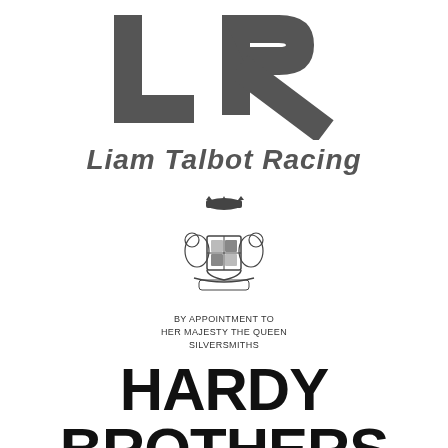[Figure (logo): Liam Talbot Racing logo — large stylized 'L' and 'R' letters in dark grey forming a monogram]
Liam Talbot Racing
[Figure (logo): Royal coat of arms crest with 'BY APPOINTMENT TO HER MAJESTY THE QUEEN SILVERSMITHS' text beneath]
HARDY BROTHERS